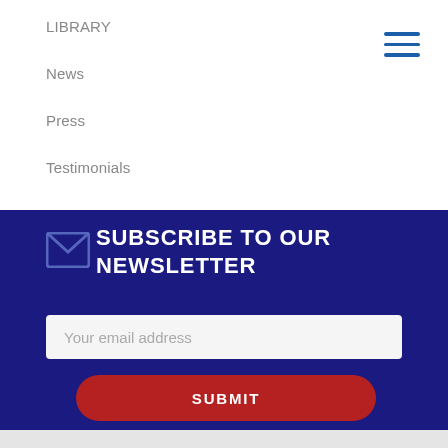LIBRARY
News
Press
Testimonials
SUBSCRIBE TO OUR NEWSLETTER
Your email address
SUBMIT